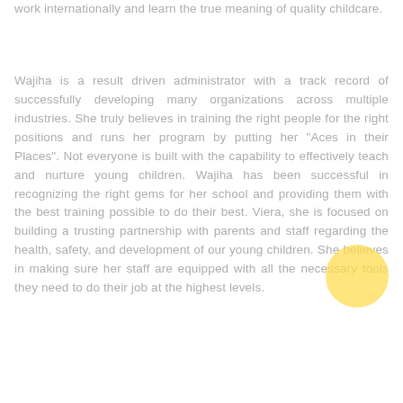work internationally and learn the true meaning of quality childcare.
Wajiha is a result driven administrator with a track record of successfully developing many organizations across multiple industries. She truly believes in training the right people for the right positions and runs her program by putting her "Aces in their Places". Not everyone is built with the capability to effectively teach and nurture young children. Wajiha has been successful in recognizing the right gems for her school and providing them with the best training possible to do their best. Viera, she is focused on building a trusting partnership with parents and staff regarding the health, safety, and development of our young children. She believes in making sure her staff are equipped with all the necessary tools they need to do their job at the highest levels.